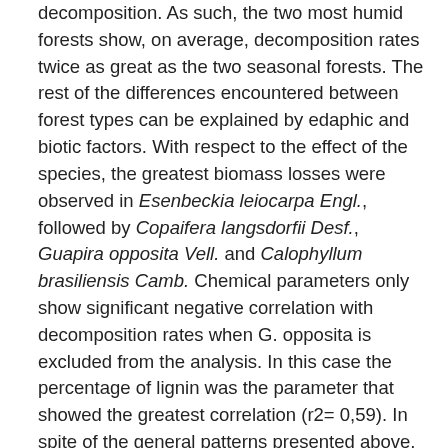decomposition. As such, the two most humid forests show, on average, decomposition rates twice as great as the two seasonal forests. The rest of the differences encountered between forest types can be explained by edaphic and biotic factors. With respect to the effect of the species, the greatest biomass losses were observed in Esenbeckia leiocarpa Engl., followed by Copaifera langsdorfii Desf., Guapira opposita Vell. and Calophyllum brasiliensis Camb. Chemical parameters only show significant negative correlation with decomposition rates when G. opposita is excluded from the analysis. In this case the percentage of lignin was the parameter that showed the greatest correlation (r2= 0,59). In spite of the general patterns presented above, the interaction between forest type and substrate showed some variation, principally related to the loss of mass of C. langsdorfii in its native habitat, the Cerradão. Comparing decomposition rates (k) found in the Semideciduous Forest and Cerradão, C. langsdorfii shows a decrease of 40% more in the Cerradão, while